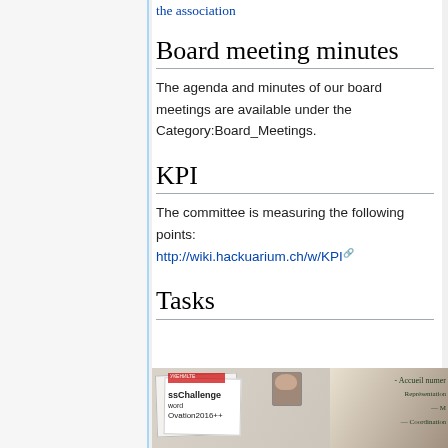the association
Board meeting minutes
The agenda and minutes of our board meetings are available under the Category:Board_Meetings.
KPI
The committee is measuring the following points: http://wiki.hackuarium.ch/w/KPI
Tasks
[Figure (photo): Photo of a whiteboard or desk with papers including items labeled ssChallenge, Ovation2016++, and handwritten notes showing Accueil numer, Représentation, Coordination]